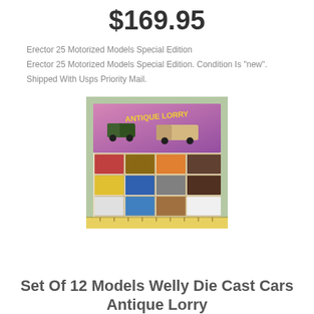$169.95
Erector 25 Motorized Models Special Edition
Erector 25 Motorized Models Special Edition. Condition Is "new". Shipped With Usps Priority Mail.
[Figure (photo): Photo of a box set of 12 die-cast antique lorry toy car models arranged in a display box, with a colorful header card showing Antique Lorry branding]
Set Of 12 Models Welly Die Cast Cars Antique Lorry